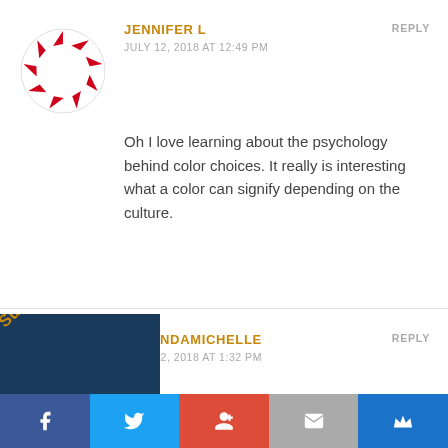[Figure (illustration): Avatar for Jennifer L — circular dashed red and white pattern]
JENNIFER L
JULY 12, 2018 AT 12:49 PM
REPLY
Oh I love learning about the psychology behind color choices. It really is interesting what a color can signify depending on the culture.
[Figure (photo): Profile photo of LavandaMichelle — woman with brown hair]
LAVANDAMICHELLE
JULY 12, 2018 AT 1:32 PM
REPLY
I often find that when I have on a nice out▲, I tend to feel pretty, and when I feel pretty I
[Figure (infographic): Social sharing bar with Facebook, Twitter, Google+, Email, and Crown icons. Subscribe label overlay on dark blue background.]